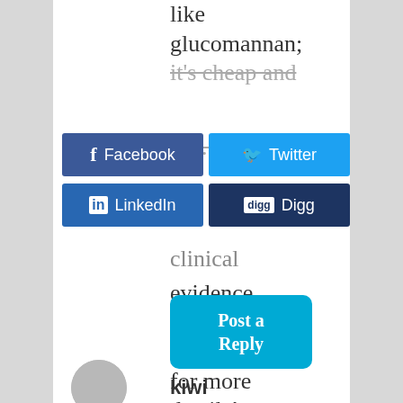like glucomannan; it's cheap and clinical evidence behind it. See this review for more details!
[Figure (infographic): Social share buttons: Facebook, Twitter, LinkedIn, Digg]
[Figure (other): Post a Reply button in blue]
kiwi